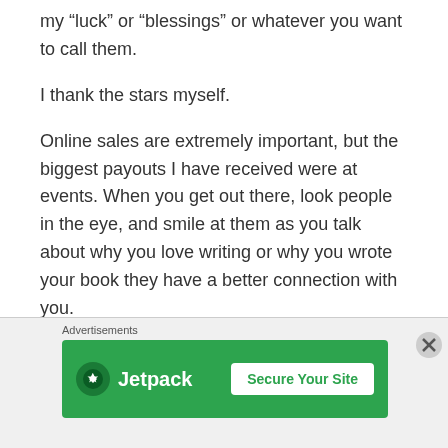my “luck” or “blessings” or whatever you want to call them.
I thank the stars myself.
Online sales are extremely important, but the biggest payouts I have received were at events. When you get out there, look people in the eye, and smile at them as you talk about why you love writing or why you wrote your book they have a better connection with you. A direct connection!
[Figure (screenshot): Jetpack advertisement banner with green background showing Jetpack logo and 'Secure Your Site' button, with 'Advertisements' label above and close (X) button.]